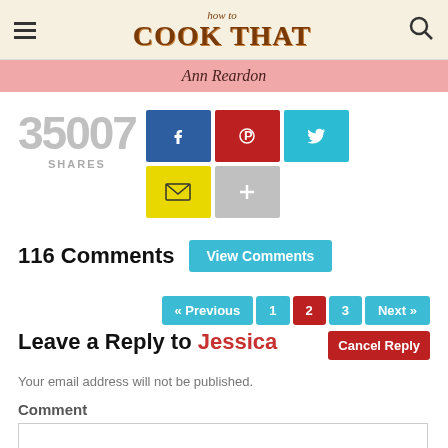how to COOK THAT
Ann Reardon
35007 SHARES
[Figure (infographic): Social share buttons: Facebook (blue), Pinterest (red), Twitter (cyan), Email (yellow), Plus (gray)]
116 Comments  View Comments
« Previous  1  2  3  Next »  Cancel Reply
Leave a Reply to Jessica
Your email address will not be published.
Comment